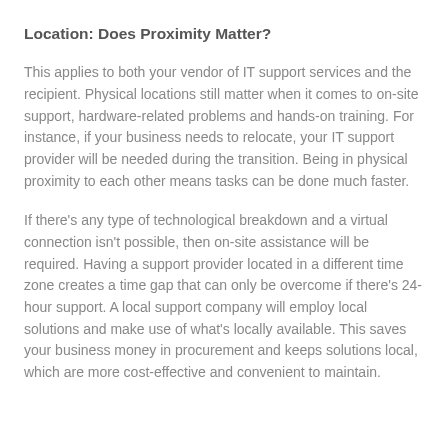Location: Does Proximity Matter?
This applies to both your vendor of IT support services and the recipient. Physical locations still matter when it comes to on-site support, hardware-related problems and hands-on training. For instance, if your business needs to relocate, your IT support provider will be needed during the transition. Being in physical proximity to each other means tasks can be done much faster.
If there’s any type of technological breakdown and a virtual connection isn’t possible, then on-site assistance will be required. Having a support provider located in a different time zone creates a time gap that can only be overcome if there’s 24-hour support. A local support company will employ local solutions and make use of what's locally available. This saves your business money in procurement and keeps solutions local, which are more cost-effective and convenient to maintain.